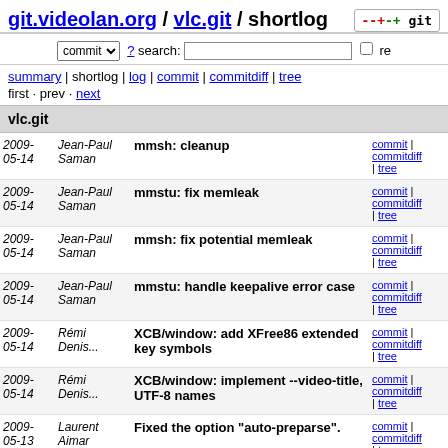git.videolan.org / vlc.git / shortlog
commit ? search: re
summary | shortlog | log | commit | commitdiff | tree
first · prev · next
vlc.git
| Date | Author | Message | Links |
| --- | --- | --- | --- |
| 2009-05-14 | Jean-Paul Saman | mmsh: cleanup | commit | commitdiff | tree |
| 2009-05-14 | Jean-Paul Saman | mmstu: fix memleak | commit | commitdiff | tree |
| 2009-05-14 | Jean-Paul Saman | mmsh: fix potential memleak | commit | commitdiff | tree |
| 2009-05-14 | Jean-Paul Saman | mmstu: handle keepalive error case | commit | commitdiff | tree |
| 2009-05-14 | Rémi Denis... | XCB/window: add XFree86 extended key symbols | commit | commitdiff | tree |
| 2009-05-14 | Rémi Denis... | XCB/window: implement --video-title, UTF-8 names | commit | commitdiff | tree |
| 2009-05-13 | Laurent Aimar | Fixed the option "auto-preparse". | commit | commitdiff | tree |
| 2009-05-13 | Rémi Denis... | OpenGL: fix missing GLX window decoration | commit | commitdiff | tree |
| 2009-05-13 | Rémi Denis... | XCB/window: do not depend on xcb- | commit | commitdiff |